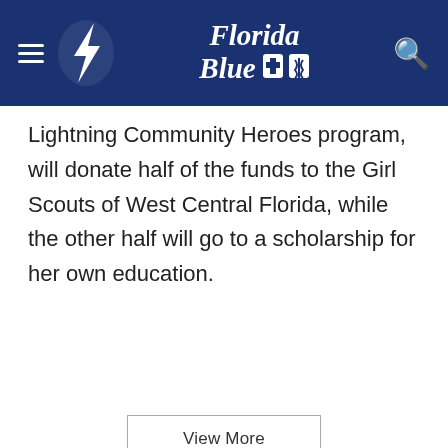[Tampa Bay Lightning logo] Florida Blue [search icon]
Lightning Community Heroes program, will donate half of the funds to the Girl Scouts of West Central Florida, while the other half will go to a scholarship for her own education.
View More
Scott Bill honored as Lightning Community Hero